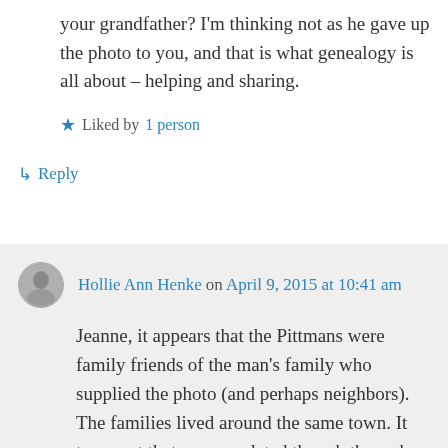your grandfather? I'm thinking not as he gave up the photo to you, and that is what genealogy is all about – helping and sharing.
★ Liked by 1 person
↳ Reply
Hollie Ann Henke on April 9, 2015 at 10:41 am
Jeanne, it appears that the Pittmans were family friends of the man's family who supplied the photo (and perhaps neighbors). The families lived around the same town. It turns out that we are related though through my DECKER line – through George Decker, who is my 4th great-